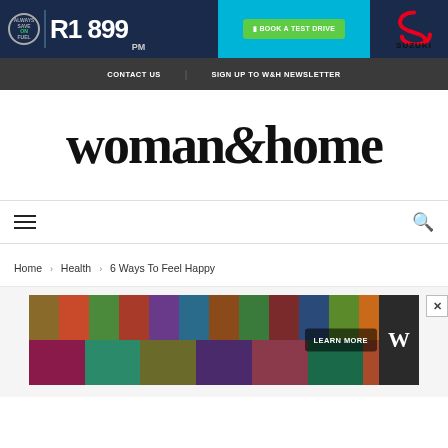[Figure (advertisement): Suzuki car ad banner: 'Always Save on Fuel' with R1 899 pm price, 'Book a Test Drive' button, and Suzuki logo]
CONTACT US   SIGN UP TO W&H NEWSLETTER
woman&home
[Figure (infographic): Navigation bar with hamburger menu icon on left and search icon on right]
Home > Health > 6 Ways To Feel Happy
[Figure (advertisement): Food/grocery collage advertisement with 'LEARN MORE' button and W badge]